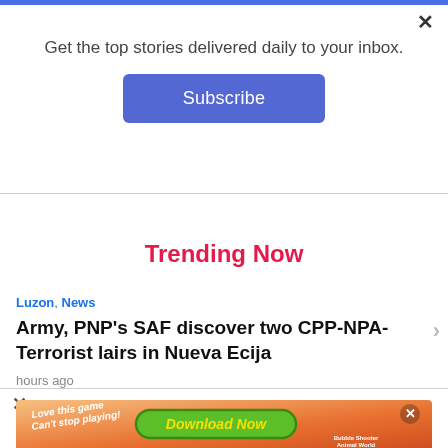Get the top stories delivered daily to your inbox.
Subscribe
Trending Now
Luzon, News
Army, PNP's SAF discover two CPP-NPA-Terrorist lairs in Nueva Ecija
hours ago
[Figure (illustration): Mobile game advertisement banner with 'Love this game Can't stop playing!' text and 'Download Now' button on an orange colorful background with game characters]